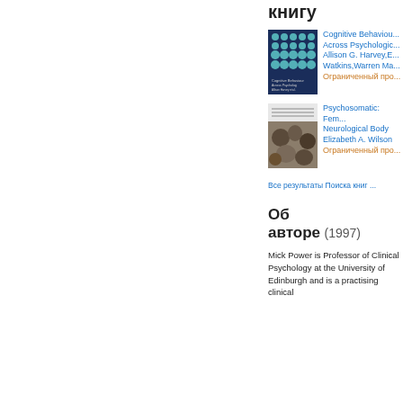книгу
[Figure (illustration): Book cover: Cognitive Behaviour ... Across Psychological... teal dots pattern on dark blue background]
Cognitive Behaviour... Across Psychologic... Allison G. Harvey, E... Watkins, Warren Ma... Ограниченный про...
[Figure (illustration): Book cover: Psychosomatic: Fem... Neurological Body, microscopic organisms image]
Psychosomatic: Fem... Neurological Body Elizabeth A. Wilson Ограниченный про...
Все результаты Поиска книг ...
Об авторе (1997)
Mick Power is Professor of Clinical Psychology at the University of Edinburgh and is a practising clinical